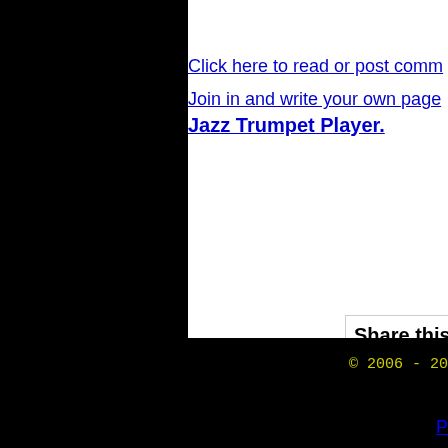Click here to read or post comm
Join in and write your own page Jazz Trumpet Player.
Share this pa
What's this?
Enjoy this p
© 2006 - 20
P